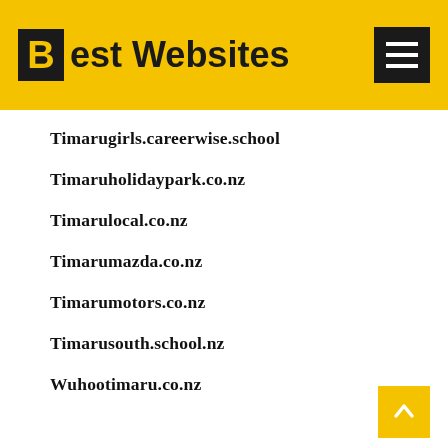Best Websites
Timarugirls.careerwise.school
Timaruholidaypark.co.nz
Timarulocal.co.nz
Timarumazda.co.nz
Timarumotors.co.nz
Timarusouth.school.nz
Wuhootimaru.co.nz